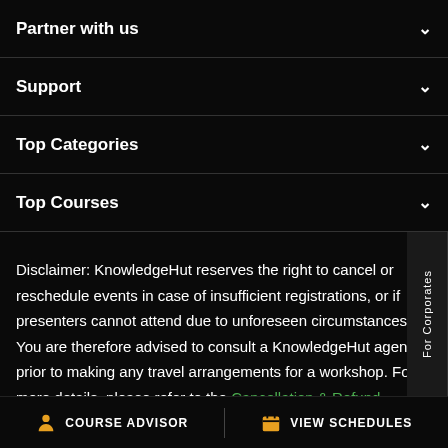Partner with us
Support
Top Categories
Top Courses
Disclaimer: KnowledgeHut reserves the right to cancel or reschedule events in case of insufficient registrations, or if presenters cannot attend due to unforeseen circumstances. You are therefore advised to consult a KnowledgeHut agent prior to making any travel arrangements for a workshop. For more details, please refer to the Cancellation & Refund Policy
COURSE ADVISOR  |  VIEW SCHEDULES